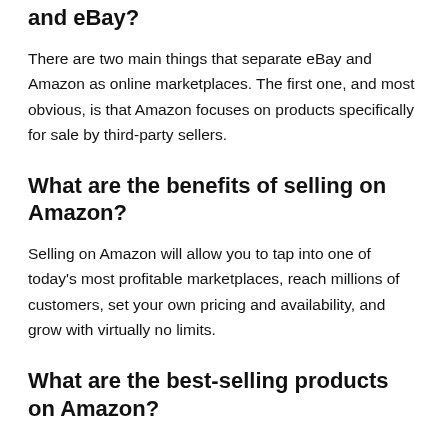and eBay?
There are two main things that separate eBay and Amazon as online marketplaces. The first one, and most obvious, is that Amazon focuses on products specifically for sale by third-party sellers.
What are the benefits of selling on Amazon?
Selling on Amazon will allow you to tap into one of today's most profitable marketplaces, reach millions of customers, set your own pricing and availability, and grow with virtually no limits.
What are the best-selling products on Amazon?